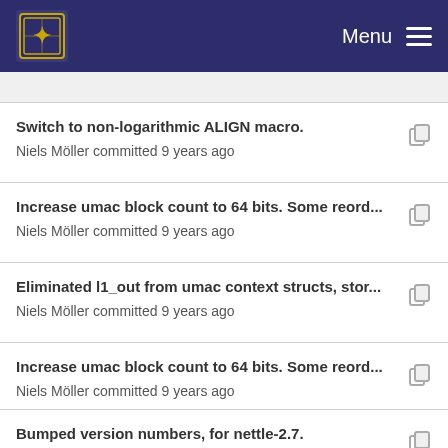Menu
Switch to non-logarithmic ALIGN macro.
Niels Möller committed 9 years ago
Increase umac block count to 64 bits. Some reord...
Niels Möller committed 9 years ago
Eliminated l1_out from umac context structs, stor...
Niels Möller committed 9 years ago
Increase umac block count to 64 bits. Some reord...
Niels Möller committed 9 years ago
Bumped version numbers, for nettle-2.7.